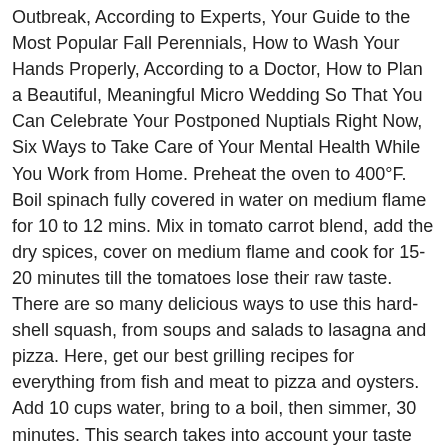Outbreak, According to Experts, Your Guide to the Most Popular Fall Perennials, How to Wash Your Hands Properly, According to a Doctor, How to Plan a Beautiful, Meaningful Micro Wedding So That You Can Celebrate Your Postponed Nuptials Right Now, Six Ways to Take Care of Your Mental Health While You Work from Home. Preheat the oven to 400°F. Boil spinach fully covered in water on medium flame for 10 to 12 mins. Mix in tomato carrot blend, add the dry spices, cover on medium flame and cook for 15-20 minutes till the tomatoes lose their raw taste. There are so many delicious ways to use this hard-shell squash, from soups and salads to lasagna and pizza. Here, get our best grilling recipes for everything from fish and meat to pizza and oysters. Add 10 cups water, bring to a boil, then simmer, 30 minutes. This search takes into account your taste preferences. Add lemon juice. Add the carrots and leeks, and stir over the heat until the leeks begin to soften and break up. â€¦ Remove from the heat; cool to luke-warm. Bring to a â€¦ Spinach Carrot Soup Recipes 293,294 Recipes. Would you like any meat in the recipe? Carrot Soup